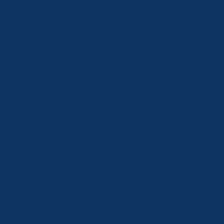for t with the choice of either socialism more th nic n ation alism/(f